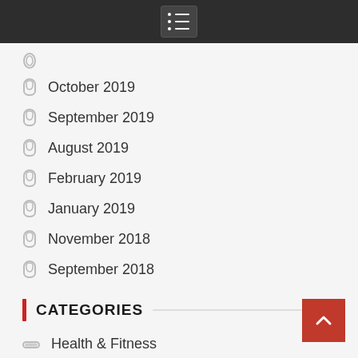Navigation menu bar
October 2019
September 2019
August 2019
February 2019
January 2019
November 2018
September 2018
CATEGORIES
Health & Fitness